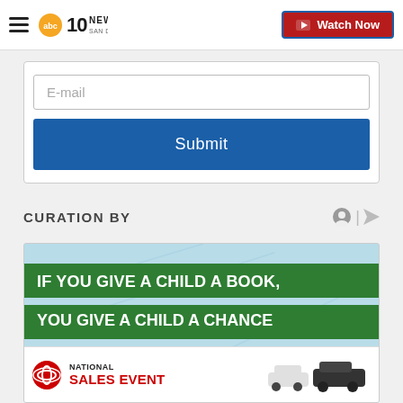abc10News San Diego — Watch Now
E-mail
Submit
CURATION BY
[Figure (illustration): Advertisement banner: 'IF YOU GIVE A CHILD A BOOK, YOU GIVE A CHILD A CHANCE' with green background, followed by 'DONATE NEW CHILDREN'S BOOKS AT ANY NORTH ISLAND CREDIT UNION BRANCH' on orange background, overlaid by a Toyota National Sales Event ad banner.]